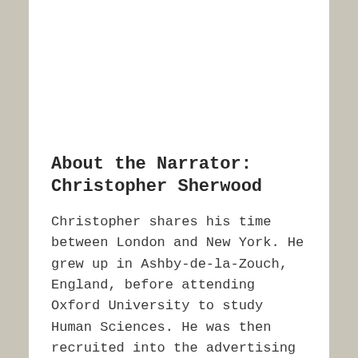About the Narrator: Christopher Sherwood
Christopher shares his time between London and New York. He grew up in Ashby-de-la-Zouch, England, before attending Oxford University to study Human Sciences. He was then recruited into the advertising industry where he spent 7 years and during which time he developed a love of theatre. It was this love that drove him to leave advertising in order to attend Royal Central School of